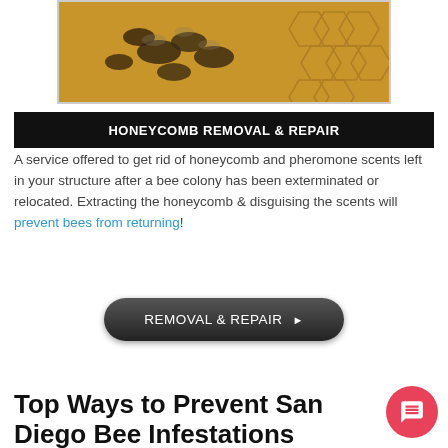[Figure (photo): Close-up photo of bees on honeycomb]
HONEYCOMB REMOVAL & REPAIR
A service offered to get rid of honeycomb and pheromone scents left in your structure after a bee colony has been exterminated or relocated. Extracting the honeycomb & disguising the scents will prevent bees from returning!
[Figure (other): Button: REMOVAL & REPAIR with arrow]
Top Ways to Prevent San Diego Bee Infestations